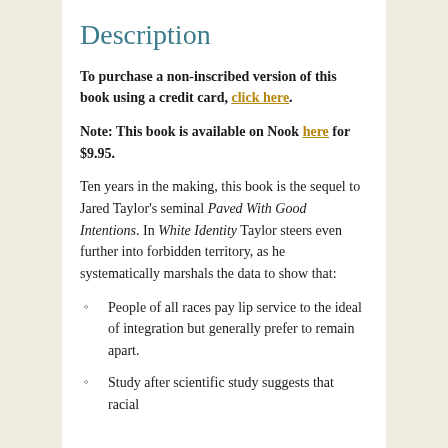Description
To purchase a non-inscribed version of this book using a credit card, click here.
Note: This book is available on Nook here for $9.95.
Ten years in the making, this book is the sequel to Jared Taylor's seminal Paved With Good Intentions. In White Identity Taylor steers even further into forbidden territory, as he systematically marshals the data to show that:
People of all races pay lip service to the ideal of integration but generally prefer to remain apart.
Study after scientific study suggests that racial